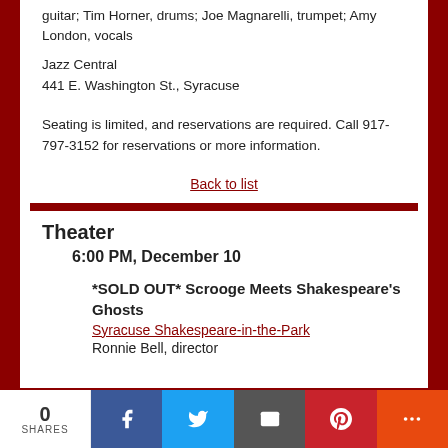guitar; Tim Horner, drums; Joe Magnarelli, trumpet; Amy London, vocals
Jazz Central
441 E. Washington St., Syracuse
Seating is limited, and reservations are required. Call 917-797-3152 for reservations or more information.
Back to list
Theater
6:00 PM, December 10
*SOLD OUT* Scrooge Meets Shakespeare's Ghosts
Syracuse Shakespeare-in-the-Park
Ronnie Bell, director